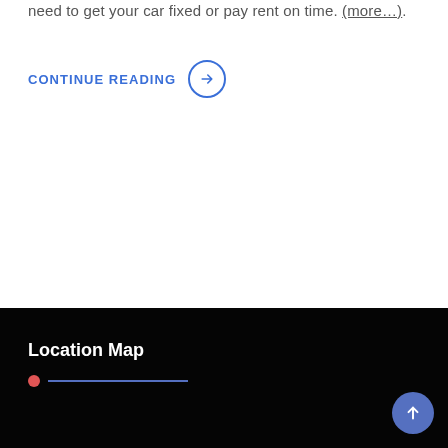need to get your car fixed or pay rent on time. (more…).
CONTINUE READING →
Location Map
[Figure (map): Dark/black location map area, mostly black with a Location Map heading and red dot with blue line decoration. A scroll-to-top button is visible in the bottom right corner.]